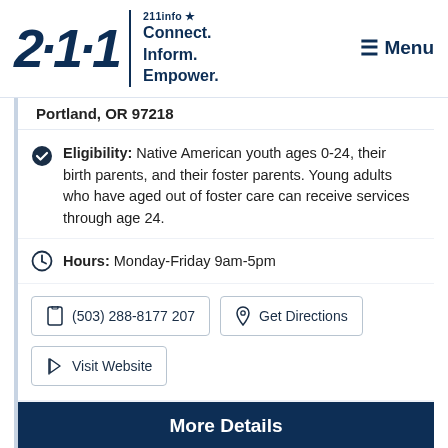[Figure (logo): 211info logo with tagline Connect. Inform. Empower.]
Portland, OR 97218
Eligibility: Native American youth ages 0-24, their birth parents, and their foster parents. Young adults who have aged out of foster care can receive services through age 24.
Hours: Monday-Friday 9am-5pm
(503) 288-8177 207
Get Directions
Visit Website
More Details